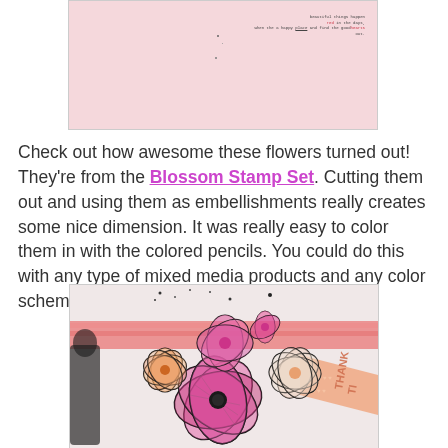[Figure (photo): Top portion of a scrapbook/craft page with a light pink background and small handwriting text in the upper right corner]
Check out how awesome these flowers turned out!  They're from the Blossom Stamp Set.  Cutting them out and using them as embellishments really creates some nice dimension.  It was really easy to color them in with the colored pencils.  You could do this with any type of mixed media products and any color scheme.
[Figure (photo): Close-up photo of stamped and colored flower embellishments in pink, magenta, and peach tones on a mixed media background with a striped ribbon element]